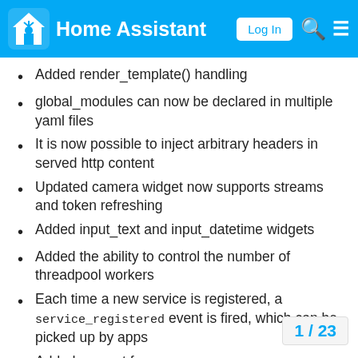Home Assistant — Log In
Added render_template() handling
global_modules can now be declared in multiple yaml files
It is now possible to inject arbitrary headers in served http content
Updated camera widget now supports streams and token refreshing
Added input_text and input_datetime widgets
Added the ability to control the number of threadpool workers
Each time a new service is registered, a service_registered event is fired, which can be picked up by apps
Added support for async apps
Added authorization to stream as well as command semantics for various functions
Added sequences
Added sequence widget
Added app access to dashboard dire...
1 / 23